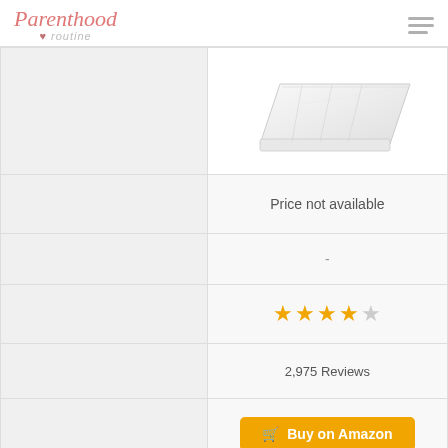Parenthood routine
[Figure (photo): White baby mattress product photo shown in a comparison table cell]
|  |  |
| --- | --- |
|  | Price not available |
|  | - |
|  | ★★★★☆ (4 stars) |
|  | 2,975 Reviews |
|  | Buy on Amazon |
| Size | 37.99 x 27.01 x 3.19 inches |